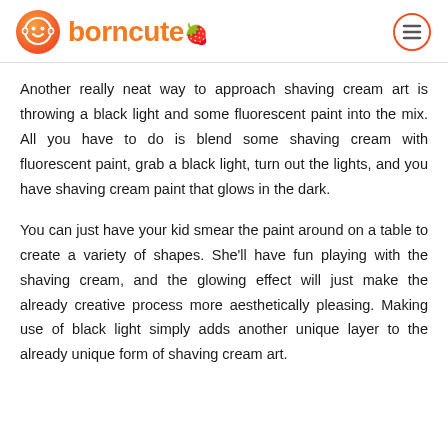borncute
Another really neat way to approach shaving cream art is throwing a black light and some fluorescent paint into the mix. All you have to do is blend some shaving cream with fluorescent paint, grab a black light, turn out the lights, and you have shaving cream paint that glows in the dark.
You can just have your kid smear the paint around on a table to create a variety of shapes. She'll have fun playing with the shaving cream, and the glowing effect will just make the already creative process more aesthetically pleasing. Making use of black light simply adds another unique layer to the already unique form of shaving cream art.